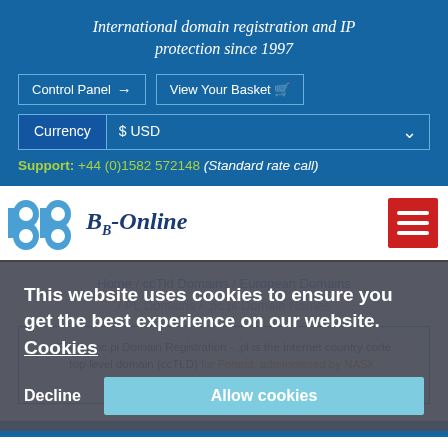International domain registration and IP protection since 1997
Control Panel  |  View Your Basket
Currency: $ USD
Support: +44 (0)1582 572148 (Standard rate call)
[Figure (logo): BB-Online logo with stylized blue BB icon and hand-drawn italic text]
Home / ccTld Domains / European Domains / PL Domains / .pc.pl Domain Names
Polish .pc.pl Domain Registration - .pl is the Internet country code top-level domain (ccTLD) for Poland, administered by NASK, research and development network foundation.
This website uses cookies to ensure you get the best experience on our website. Cookies
Decline  Allow cookies